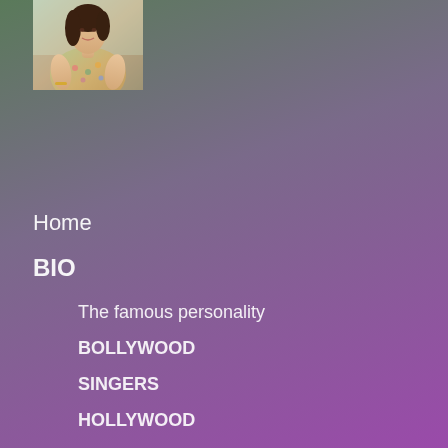[Figure (photo): A person (woman) in a floral or patterned outfit, photo cropped to show upper body, outdoors setting]
Home
BIO
The famous personality
BOLLYWOOD
SINGERS
HOLLYWOOD
TAMIL
TOLLYWOOD
TV ACTORS
TURKISH
TELUGU
TIKTOK